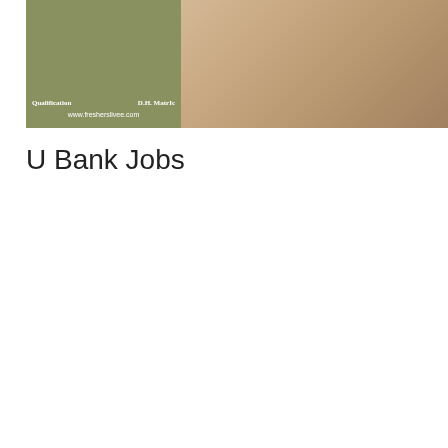[Figure (photo): Banner image showing a person writing/drawing on paper with a pen, with an overlaid green/olive colored panel on the left containing column header text 'Qualification' and 'D.H. MatrIc' and website URL 'www.fresherslivee.com']
U Bank Jobs